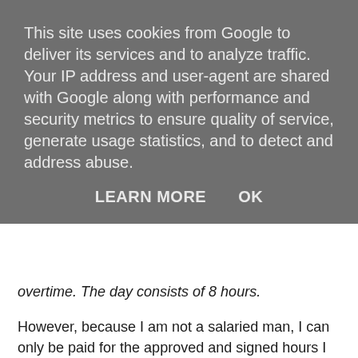This site uses cookies from Google to deliver its services and to analyze traffic. Your IP address and user-agent are shared with Google along with performance and security metrics to ensure quality of service, generate usage statistics, and to detect and address abuse.
LEARN MORE   OK
overtime. The day consists of 8 hours.
However, because I am not a salaried man, I can only be paid for the approved and signed hours I have worked. For instance, my hours added up to 200 because of some administrative issues in October, they were down to 168 in November and because of my holidays, I have put in only 112 hours in December.
There would be a world of difference between what I took home in October compared to what I am taking home in December – there is probably a break-even point below which what I take home cannot meet my outgoings and then I would be running a dangerous deficit.